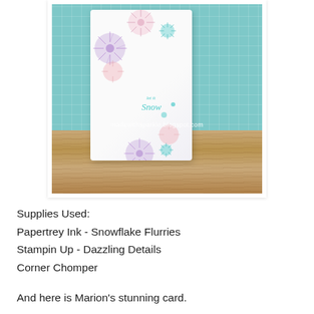[Figure (photo): A handmade greeting card propped on a wooden surface against a teal grid background. The white card features colorful snowflake/dandelion stamp decorations in pink, purple, and teal, with 'let it Snow' written in teal script. Watermark reads 'madewithsparkle.blogspot.com'.]
Supplies Used:
Papertrey Ink - Snowflake Flurries
Stampin Up - Dazzling Details
Corner Chomper
And here is Marion's stunning card.